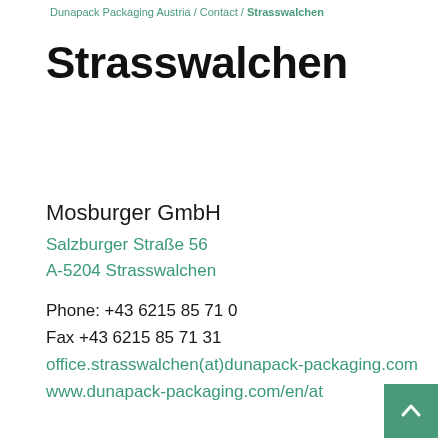Dunapack Packaging Austria / Contact / Strasswalchen
Strasswalchen
Mosburger GmbH
Salzburger Straße 56
A-5204 Strasswalchen

Phone: +43 6215 85 71 0
Fax +43 6215 85 71 31
office.strasswalchen(at)dunapack-packaging.com
www.dunapack-packaging.com/en/at